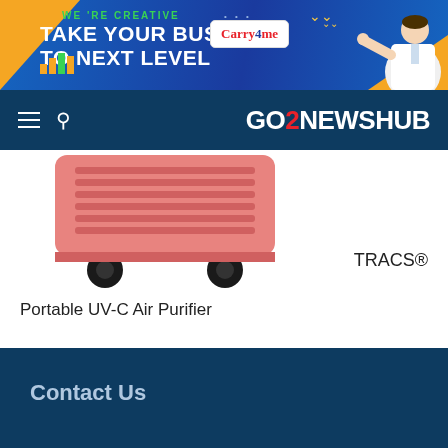[Figure (illustration): Advertising banner for Carry4me business service. Blue and orange background with text 'WE'RE CREATIVE', 'TAKE YOUR BUSINESS TO NEXT LEVEL', Carry4me logo, bar chart icon, and a man in business shirt pointing.]
GO2NEWSHUB
[Figure (photo): Bottom portion of a pink TRACS portable UV-C air purifier on wheels against a white background.]
TRACS®
Portable UV-C Air Purifier
Contact Us